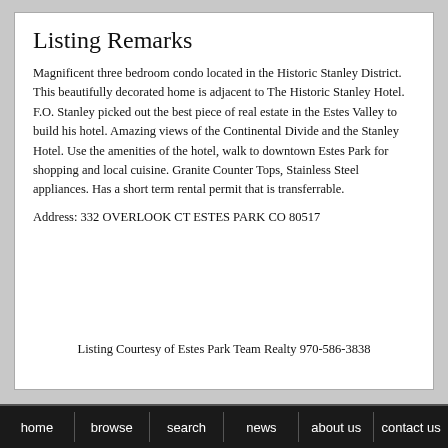Listing Remarks
Magnificent three bedroom condo located in the Historic Stanley District. This beautifully decorated home is adjacent to The Historic Stanley Hotel. F.O. Stanley picked out the best piece of real estate in the Estes Valley to build his hotel. Amazing views of the Continental Divide and the Stanley Hotel. Use the amenities of the hotel, walk to downtown Estes Park for shopping and local cuisine. Granite Counter Tops, Stainless Steel appliances. Has a short term rental permit that is transferrable.
Address: 332 OVERLOOK CT ESTES PARK CO 80517
Listing Courtesy of Estes Park Team Realty 970-586-3838
home  browse  search  news  about us  contact us